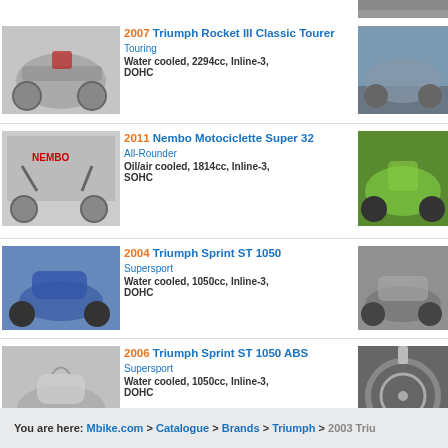[Figure (photo): Partial motorcycle photo top right corner]
2007 Triumph Rocket III Classic Tourer — Touring — Water cooled, 2294cc, Inline-3, DOHC
2011 Nembo Motociclette Super 32 — All-Rounder — Oil/air cooled, 1814cc, Inline-3, SOHC
2004 Triumph Sprint ST 1050 — Supersport — Water cooled, 1050cc, Inline-3, DOHC
2006 Triumph Sprint ST 1050 ABS — Supersport — Water cooled, 1050cc, Inline-3, DOHC
You are here: Mbike.com > Catalogue > Brands > Triumph > 2003 Triu